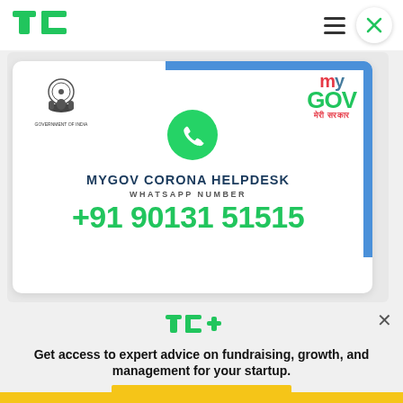[Figure (logo): TechCrunch logo (TC in green) in top navigation bar]
[Figure (screenshot): MyGov Corona Helpdesk WhatsApp promotional card showing Government of India emblem, MyGov logo, WhatsApp icon, text MYGOV CORONA HELPDESK WHATSAPP NUMBER +91 90131 51515]
[Figure (logo): TechCrunch+ logo in green with plus sign]
Get access to expert advice on fundraising, growth, and management for your startup.
[Figure (other): EXPLORE NOW yellow button]